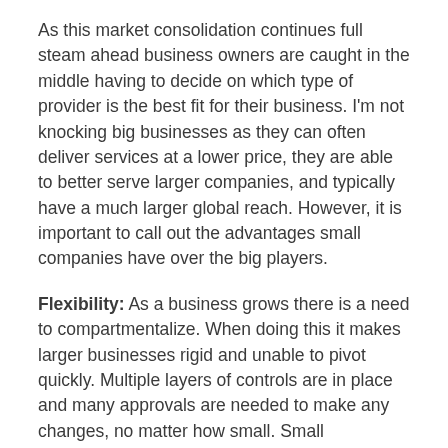As this market consolidation continues full steam ahead business owners are caught in the middle having to decide on which type of provider is the best fit for their business. I'm not knocking big businesses as they can often deliver services at a lower price, they are able to better serve larger companies, and typically have a much larger global reach. However, it is important to call out the advantages small companies have over the big players.
Flexibility: As a business grows there is a need to compartmentalize. When doing this it makes larger businesses rigid and unable to pivot quickly. Multiple layers of controls are in place and many approvals are needed to make any changes, no matter how small. Small businesses can make big changes much more easily. They can identify problems sooner and take actions quickly to correct them.